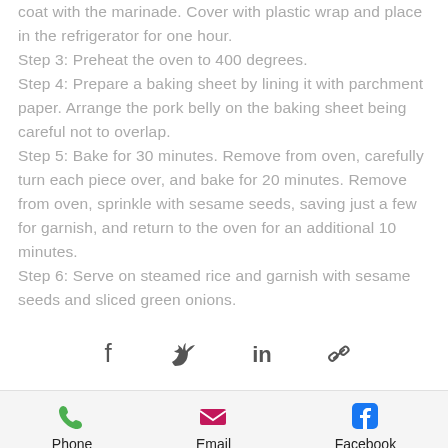coat with the marinade. Cover with plastic wrap and place in the refrigerator for one hour. Step 3: Preheat the oven to 400 degrees. Step 4: Prepare a baking sheet by lining it with parchment paper. Arrange the pork belly on the baking sheet being careful not to overlap. Step 5: Bake for 30 minutes. Remove from oven, carefully turn each piece over, and bake for 20 minutes. Remove from oven, sprinkle with sesame seeds, saving just a few for garnish, and return to the oven for an additional 10 minutes. Step 6: Serve on steamed rice and garnish with sesame seeds and sliced green onions.
[Figure (other): Social share icons: Facebook, Twitter, LinkedIn, Link]
[Figure (other): Contact/share bar: Phone (green phone icon), Email (pink envelope icon), Facebook (blue Facebook icon)]